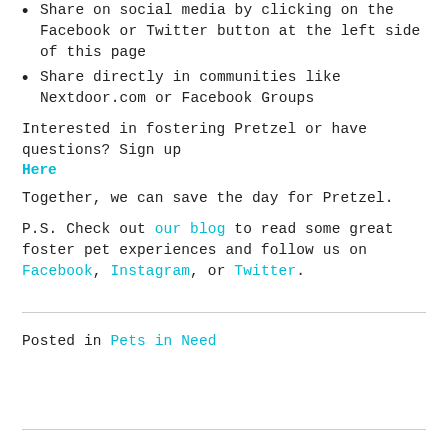Share on social media by clicking on the Facebook or Twitter button at the left side of this page
Share directly in communities like Nextdoor.com or Facebook Groups
Interested in fostering Pretzel or have questions? Sign up Here
Together, we can save the day for Pretzel.
P.S. Check out our blog to read some great foster pet experiences and follow us on Facebook, Instagram, or Twitter.
Posted in Pets in Need